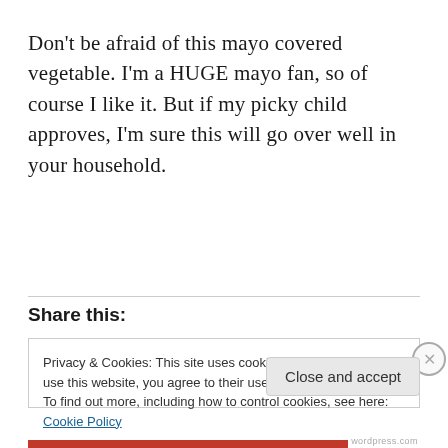Don't be afraid of this mayo covered vegetable. I'm a HUGE mayo fan, so of course I like it. But if my picky child approves, I'm sure this will go over well in your household.
Share this:
Privacy & Cookies: This site uses cookies. By continuing to use this website, you agree to their use.
To find out more, including how to control cookies, see here: Cookie Policy
Close and accept